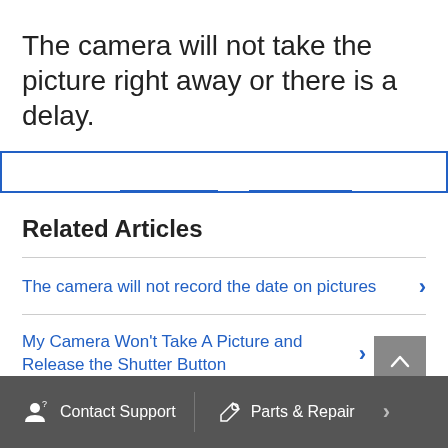The camera will not take the picture right away or there is a delay.
[Figure (screenshot): Tab navigation bar with blue underline indicators on two tabs and a blue border]
Related Articles
The camera will not record the date on pictures
My Camera Won't Take A Picture and Release the Shutter Button
Contact Support   Parts & Repair